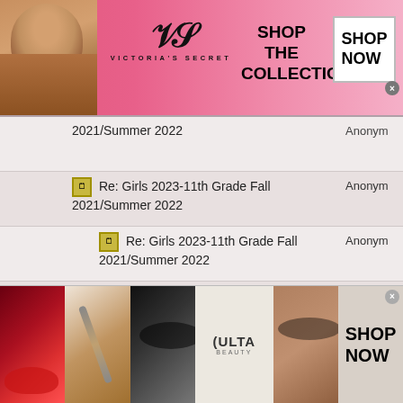[Figure (screenshot): Victoria's Secret advertisement banner with model, VS logo, 'SHOP THE COLLECTION' text, and SHOP NOW button]
Re: Girls 2023-11th Grade Fall 2021/Summer 2022  Anonym
Re: Girls 2023-11th Grade Fall 2021/Summer 2022  Anonym
Re: Girls 2023-11th Grade Fall 2021/Summer 2022  Anonym
Re: Girls 2023-11th Grade Fall 2021/Summer 2022  Anonym
Re: Girls 2023-11th Grade Fall 2021/Summer 2022  Anonym
Re: Girls 2023-11th Grade Fall  Anonym
[Figure (screenshot): Ulta Beauty advertisement banner with makeup/beauty images and SHOP NOW button]